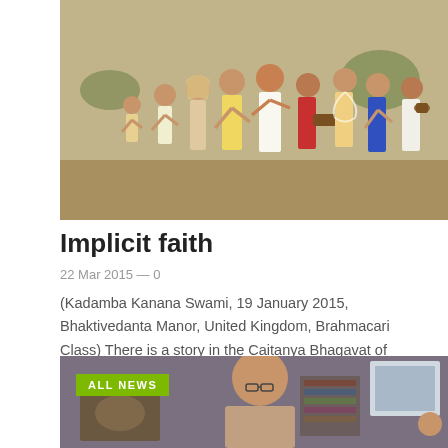[Figure (illustration): Painting of a religious procession with multiple figures in traditional Indian attire, some carrying musical instruments, set outdoors.]
Implicit faith
22 Mar 2015 — 0
(Kadamba Kanana Swami, 19 January 2015, Bhaktivedanta Manor, United Kingdom, Brahmacari Class) There is a story in the Caitanya Bhagavat of Gadhadara Das. Gadhadara Das, one day went to the…
[Figure (photo): Photo of a bald man with glasses speaking at an event, with a screen visible in the background. A green 'ALL NEWS' badge overlaid in the top left.]